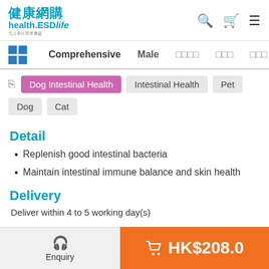健康網購 health.ESDlife 先江車社業來廣益
Comprehensive  Male  □□□□  □□□  □□□
Dog Intestinal Health  Intestinal Health  Pet  Dog  Cat
Detail
Replenish good intestinal bacteria
Maintain intestinal immune balance and skin health
Delivery
Deliver within 4 to 5 working day(s)
Enquiry  HK$208.0